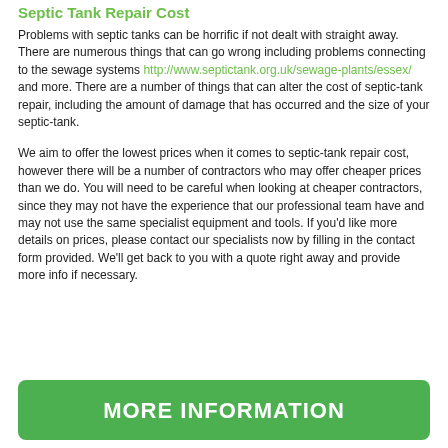Septic Tank Repair Cost
Problems with septic tanks can be horrific if not dealt with straight away. There are numerous things that can go wrong including problems connecting to the sewage systems http://www.septictank.org.uk/sewage-plants/essex/ and more. There are a number of things that can alter the cost of septic-tank repair, including the amount of damage that has occurred and the size of your septic-tank.
We aim to offer the lowest prices when it comes to septic-tank repair cost, however there will be a number of contractors who may offer cheaper prices than we do. You will need to be careful when looking at cheaper contractors, since they may not have the experience that our professional team have and may not use the same specialist equipment and tools. If you'd like more details on prices, please contact our specialists now by filling in the contact form provided. We'll get back to you with a quote right away and provide more info if necessary.
[Figure (other): Green button with white bold text reading MORE INFORMATION]